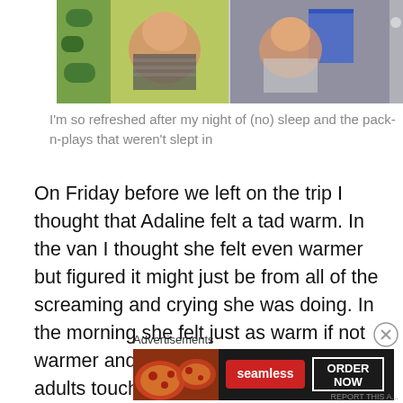[Figure (photo): Two side-by-side photos: left shows a baby on a colorful floral background, right shows a baby near a blue object]
I'm so refreshed after my night of (no) sleep and the pack-n-plays that weren't slept in
On Friday before we left on the trip I thought that Adaline felt a tad warm. In the van I thought she felt even warmer but figured it might just be from all of the screaming and crying she was doing. In the morning she felt just as warm if not warmer and after making all of the other adults touch her forehead we agreed that she had a fever. Naturally I had no thermometer to confirm this and no infant medicine to administer to her anyway. The poor darling girl
Advertisements
[Figure (photo): Seamless food delivery advertisement banner showing pizza on left, Seamless logo in red center, and ORDER NOW button on right]